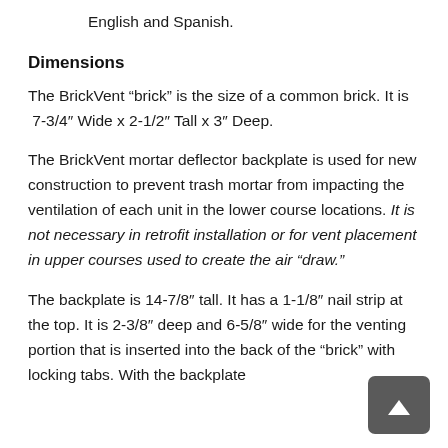English and Spanish.
Dimensions
The BrickVent “brick” is the size of a common brick. It is 7-3/4″ Wide x 2-1/2″ Tall x 3″ Deep.
The BrickVent mortar deflector backplate is used for new construction to prevent trash mortar from impacting the ventilation of each unit in the lower course locations. It is not necessary in retrofit installation or for vent placement in upper courses used to create the air “draw.”
The backplate is 14-7/8″ tall. It has a 1-1/8″ nail strip at the top. It is 2-3/8″ deep and 6-5/8″ wide for the venting portion that is inserted into the back of the “brick” with locking tabs. With the backplate